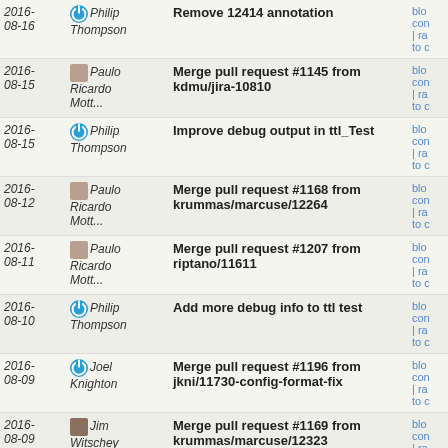| Date | Author | Message | Links |
| --- | --- | --- | --- |
| 2016-08-16 | Philip Thompson | Remove 12414 annotation | blo con | ra to c |
| 2016-08-15 | Paulo Ricardo Mott... | Merge pull request #1145 from kdmu/jira-10810 | blo con | ra to c |
| 2016-08-15 | Philip Thompson | Improve debug output in ttl_Test | blo con | ra to c |
| 2016-08-12 | Paulo Ricardo Mott... | Merge pull request #1168 from krummas/marcuse/12264 | blo con | ra to c |
| 2016-08-11 | Paulo Ricardo Mott... | Merge pull request #1207 from riptano/11611 | blo con | ra to c |
| 2016-08-10 | Philip Thompson | Add more debug info to ttl test | blo con | ra to c |
| 2016-08-09 | Joel Knighton | Merge pull request #1196 from jkni/11730-config-format-fix | blo con | ra to c |
| 2016-08-09 | Jim Witschey | Merge pull request #1169 from krummas/marcuse/12323 | blo con | ra to c |
| 2016-08-09 | Jim Witschey | Merge pull request #1080 from mambocab/sstable-popen | blo con | ra to c |
| 2016-08-08 | Philip Thompson | Add 12414 annotation | blo con | ra |